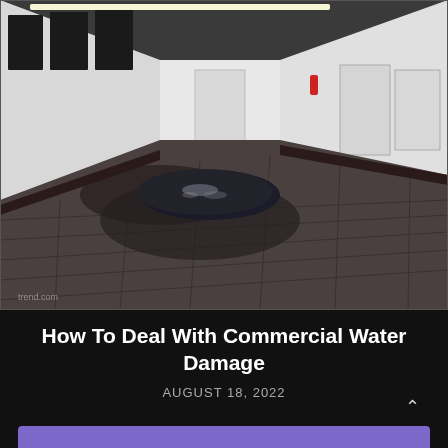[Figure (photo): Interior corridor of a commercial building with dark carpet flooring showing significant water damage — a large puddle of standing water reflects ceiling lights in the middle of the hallway. White walls with black-framed windows on the left side, white doors at the far end, and a fire extinguisher visible on the right wall.]
How To Deal With Commercial Water Damage
AUGUST 18, 2022